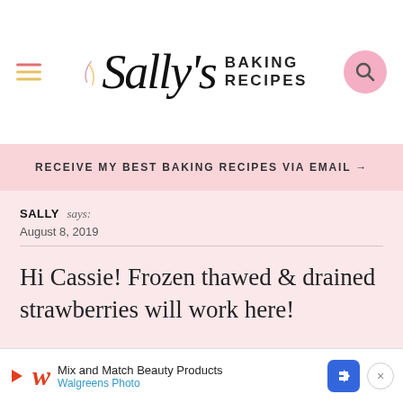Sally's Baking Recipes
RECEIVE MY BEST BAKING RECIPES VIA EMAIL →
SALLY says:
August 8, 2019

Hi Cassie! Frozen thawed & drained strawberries will work here!

REPLY
GLENDA says:
June 5, 2020
Mix and Match Beauty Products
Walgreens Photo